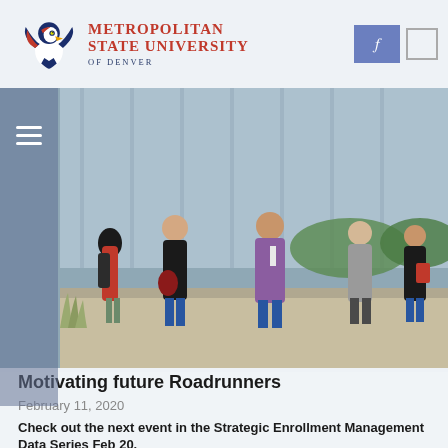[Figure (logo): Metropolitan State University of Denver logo with roadrunner eagle mascot]
[Figure (photo): Group of college students walking and socializing outdoors on campus, some holding red bags]
Motivating future Roadrunners
February 11, 2020
Check out the next event in the Strategic Enrollment Management Data Series Feb 20.